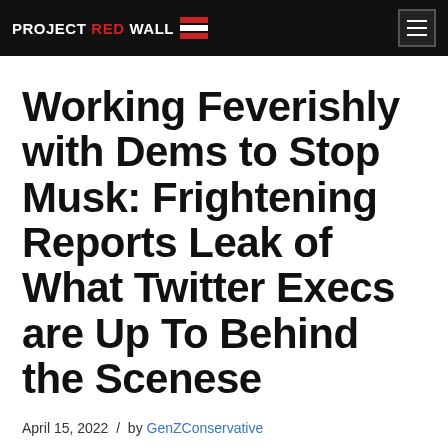PROJECT RED WALL
Working Feverishly with Dems to Stop Musk: Frightening Reports Leak of What Twitter Execs are Up To Behind the Scenese
April 15, 2022  /  by GenZConservative